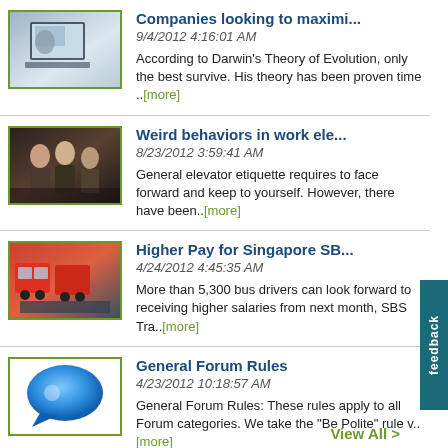Companies looking to maximi... | 9/4/2012 4:16:01 AM | According to Darwin's Theory of Evolution, only the best survive. His theory has been proven time ..[more]
Weird behaviors in work ele... | 8/23/2012 3:59:41 AM | General elevator etiquette requires to face forward and keep to yourself. However, there have been..[more]
Higher Pay for Singapore SB... | 4/24/2012 4:45:35 AM | More than 5,300 bus drivers can look forward to receiving higher salaries from next month, SBS Tra..[more]
General Forum Rules | 4/23/2012 10:18:57 AM | General Forum Rules: These rules apply to all Forum categories. We take the "Be Polite" rule v..[more]
View All >